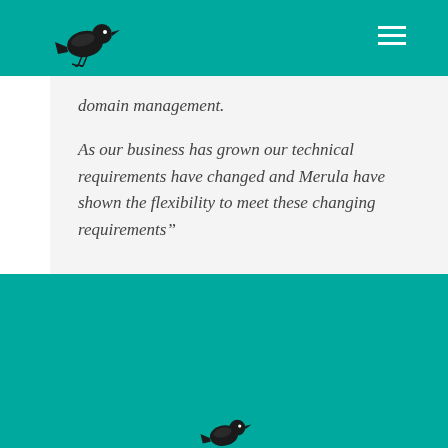[Figure (logo): Black bird silhouette logo on teal header bar with hamburger menu icon on the right]
domain management.
As our business has grown our technical requirements have changed and Merula have shown the flexibility to meet these changing requirements"
Anthony Fisher
Propex